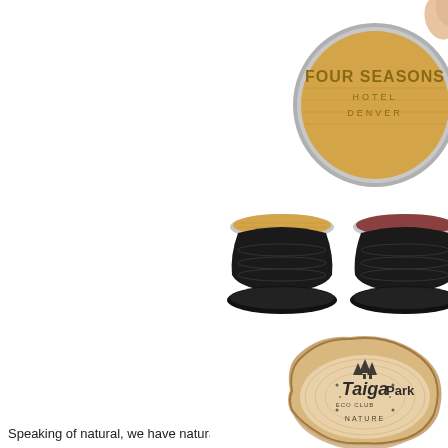[Figure (photo): Bamboo circular PopSocket with Four Seasons Hotel Denver engraving, held by fingers, top portion visible]
[Figure (photo): Four PopSocket phone grips in two colors: Bamboo/Black (two units shown expanded and collapsed) and Rosewood/Black (two units partially visible on right)]
Bamboo/Black
Rosew...
Speaking of natural, we have natural pop...
[Figure (photo): Natural wood slice cross-section with Taiga Eco Park Nature logo laser engraved]